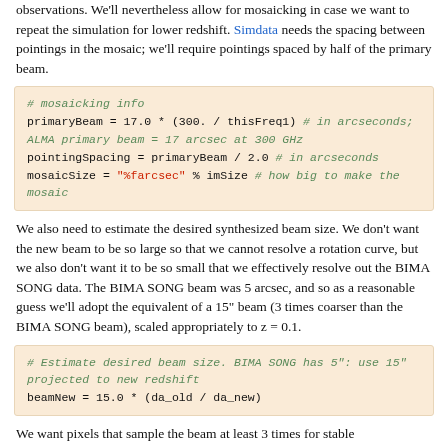observations. We'll nevertheless allow for mosaicking in case we want to repeat the simulation for lower redshift. Simdata needs the spacing between pointings in the mosaic; we'll require pointings spaced by half of the primary beam.
# mosaicking info
primaryBeam = 17.0 * (300. / thisFreq1) # in arcseconds; ALMA primary beam = 17 arcsec at 300 GHz
pointingSpacing = primaryBeam / 2.0 # in arcseconds
mosaicSize = "%farcsec" % imSize # how big to make the mosaic
We also need to estimate the desired synthesized beam size. We don't want the new beam to be so large so that we cannot resolve a rotation curve, but we also don't want it to be so small that we effectively resolve out the BIMA SONG data. The BIMA SONG beam was 5 arcsec, and so as a reasonable guess we'll adopt the equivalent of a 15" beam (3 times coarser than the BIMA SONG beam), scaled appropriately to z = 0.1.
# Estimate desired beam size. BIMA SONG has 5": use 15" projected to new redshift
beamNew = 15.0 * (da_old / da_new)
We want pixels that sample the beam at least 3 times for stable